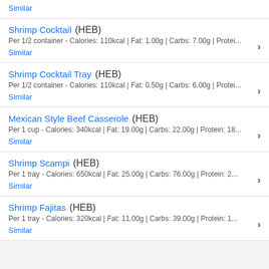Similar
Shrimp Cocktail (HEB)
Per 1/2 container - Calories: 110kcal | Fat: 1.00g | Carbs: 7.00g | Protei...
Similar
Shrimp Cocktail Tray (HEB)
Per 1/2 container - Calories: 110kcal | Fat: 0.50g | Carbs: 6.00g | Protei...
Similar
Mexican Style Beef Casserole (HEB)
Per 1 cup - Calories: 340kcal | Fat: 19.00g | Carbs: 22.00g | Protein: 18...
Similar
Shrimp Scampi (HEB)
Per 1 tray - Calories: 650kcal | Fat: 25.00g | Carbs: 76.00g | Protein: 2...
Similar
Shrimp Fajitas (HEB)
Per 1 tray - Calories: 320kcal | Fat: 11.00g | Carbs: 39.00g | Protein: 1...
Similar